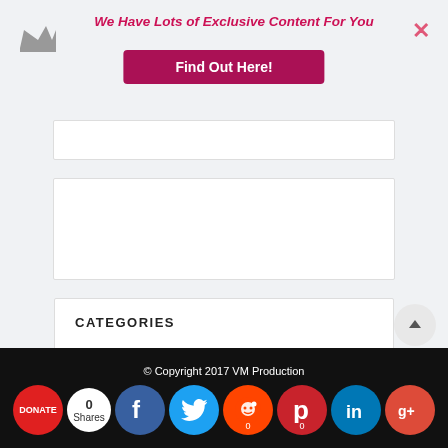[Figure (screenshot): Top promotional banner with crown icon, close button, promotional text and button]
We Have Lots of Exclusive Content For You
Find Out Here!
CATEGORIES
BTS Blog
Dostoyevsky Reimagined
Film Noir of the Week
RSS FEED (partial)
© Copyright 2017 VM Production